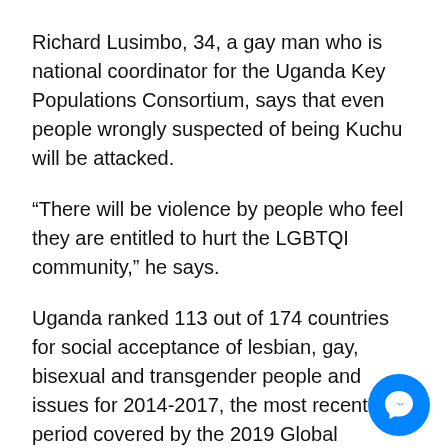Richard Lusimbo, 34, a gay man who is national coordinator for the Uganda Key Populations Consortium, says that even people wrongly suspected of being Kuchu will be attacked.
“There will be violence by people who feel they are entitled to hurt the LGBTQI community,” he says.
Uganda ranked 113 out of 174 countries for social acceptance of lesbian, gay, bisexual and transgender people and issues for 2014-2017, the most recent period covered by the 2019 Global Acceptance Index produced by the Williams Institute, a think tank at the University of California, Los Angeles. A 2019 survey by Afrobarometer, a pan-African research network, reported that 86% of Ugandans said they would strongly dislike having a neighbor; the 2016 ILGA-RIWI Global Attitudes Su found that 53% agreed that homosexuality should be a